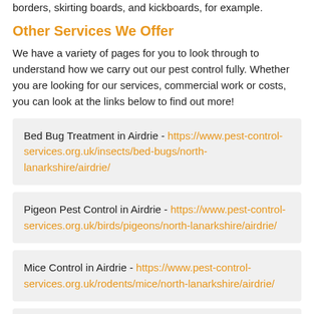borders, skirting boards, and kickboards, for example.
Other Services We Offer
We have a variety of pages for you to look through to understand how we carry out our pest control fully. Whether you are looking for our services, commercial work or costs, you can look at the links below to find out more!
Bed Bug Treatment in Airdrie - https://www.pest-control-services.org.uk/insects/bed-bugs/north-lanarkshire/airdrie/
Pigeon Pest Control in Airdrie - https://www.pest-control-services.org.uk/birds/pigeons/north-lanarkshire/airdrie/
Mice Control in Airdrie - https://www.pest-control-services.org.uk/rodents/mice/north-lanarkshire/airdrie/
Moth Infestation in Airdrie - https://www.pest-control-services.org.uk/flying/moths/north-lanarkshire/airdrie/